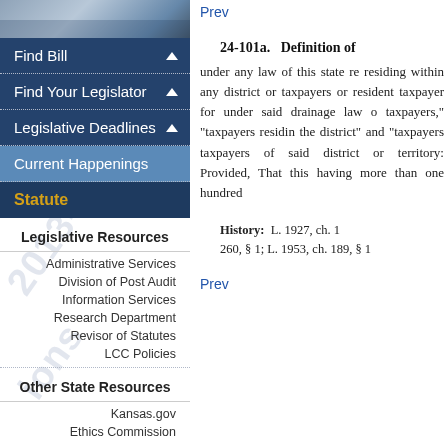Find Bill
Find Your Legislator
Legislative Deadlines
Current Happenings
Statute
Legislative Resources
Administrative Services
Division of Post Audit
Information Services
Research Department
Revisor of Statutes
LCC Policies
Other State Resources
Kansas.gov
Ethics Commission
How Do I...
Become A Legislative Intern
Become A Legislative Page
Apply For Session Work
Prev
24-101a. Definition of
under any law of this state re residing within any district or taxpayers or resident taxpayer for under said drainage law o taxpayers," "taxpayers residin the district" and "taxpayers taxpayers of said district or territory: Provided, That this having more than one hundred
History: L. 1927, ch. 1 260, § 1; L. 1953, ch. 189, § 1
Prev